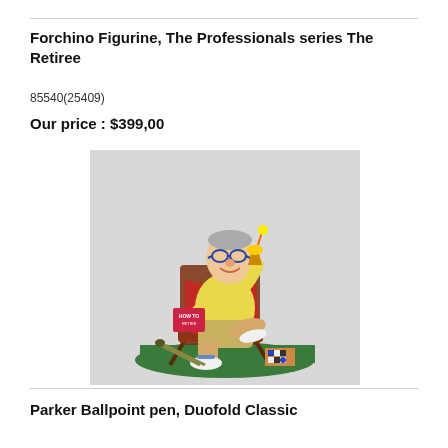Forchino Figurine, The Professionals series The Retiree
85540(25409)
Our price : $399,00
[Figure (photo): Colorful figurine of an elderly man sitting in a folding chair, wearing yellow shirt and shorts, holding a book and a drink, with golf clubs and board games at his feet on a green base.]
Parker Ballpoint pen, Duofold Classic